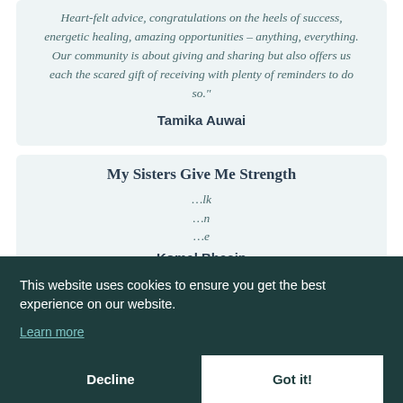Heart-felt advice, congratulations on the heels of success, energetic healing, amazing opportunities – anything, everything. Our community is about giving and sharing but also offers us each the scared gift of receiving with plenty of reminders to do so."
Tamika Auwai
My Sisters Give Me Strength
...lk ...n ...e
Komal Bhasin
This website uses cookies to ensure you get the best experience on our website.
Learn more
Decline
Got it!